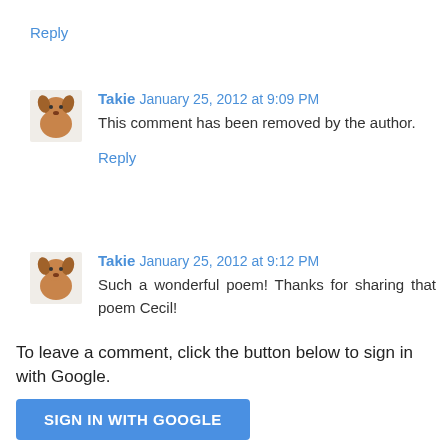Reply
Takie January 25, 2012 at 9:09 PM
This comment has been removed by the author.
Reply
Takie January 25, 2012 at 9:12 PM
Such a wonderful poem! Thanks for sharing that poem Cecil!
Dog Fence | Pet Solutions
Reply
To leave a comment, click the button below to sign in with Google.
SIGN IN WITH GOOGLE